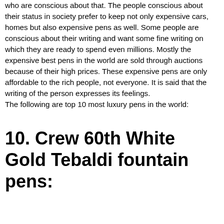who are conscious about that. The people conscious about their status in society prefer to keep not only expensive cars, homes but also expensive pens as well. Some people are conscious about their writing and want some fine writing on which they are ready to spend even millions. Mostly the expensive best pens in the world are sold through auctions because of their high prices. These expensive pens are only affordable to the rich people, not everyone. It is said that the writing of the person expresses its feelings.
The following are top 10 most luxury pens in the world:
10. Crew 60th White Gold Tebaldi fountain pens: